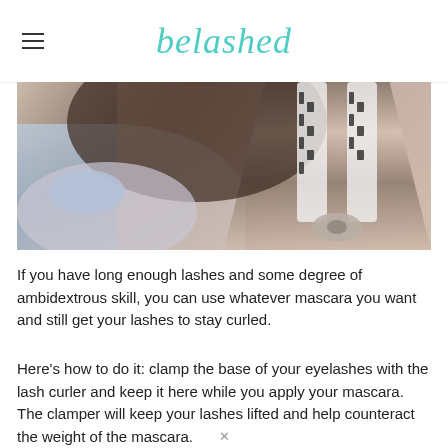belashed
[Figure (photo): Close-up photo of a person using a zebra-print eyelash curler near their eye, with light blue/lavender painted fingernails visible holding the curler.]
If you have long enough lashes and some degree of ambidextrous skill, you can use whatever mascara you want and still get your lashes to stay curled.
Here’s how to do it: clamp the base of your eyelashes with the lash curler and keep it here while you apply your mascara. The clamper will keep your lashes lifted and help counteract the weight of the mascara.
×